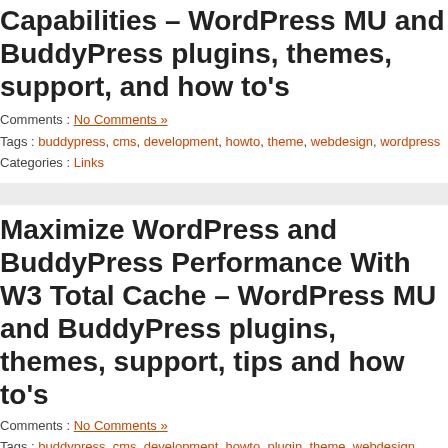Capabilities – WordPress MU and BuddyPress plugins, themes, support, and how to's
Comments : No Comments »
Tags : buddypress, cms, development, howto, theme, webdesign, wordpress
Categories : Links
Maximize WordPress and BuddyPress Performance With W3 Total Cache – WordPress MU and BuddyPress plugins, themes, support, tips and how to's
Comments : No Comments »
Tags : buddypress, cms, development, howto, plugin, theme, webdesign, wordpress
Categories : Links
How to Create a WordPress Theme: 15 Essential Resources – WordPress MU and BuddyPress plugins, themes, support,